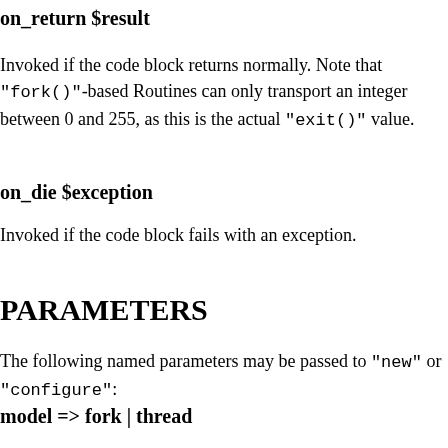on_return $result
Invoked if the code block returns normally. Note that "fork()"-based Routines can only transport an integer between 0 and 255, as this is the actual "exit()" value.
on_die $exception
Invoked if the code block fails with an exception.
PARAMETERS
The following named parameters may be passed to "new" or "configure":
model => fork | thread
Optional. Defines how the routine will detach itself from the main process. "fork" uses a child process detached using IO::Async::Process. "thread" uses a thread, and is only